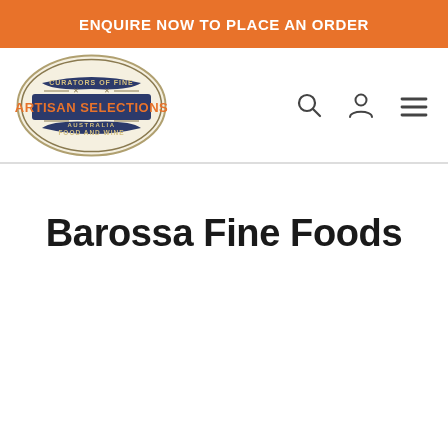ENQUIRE NOW TO PLACE AN ORDER
[Figure (logo): Artisan Selections Australia Food and Wine logo — oval badge with 'CURATORS OF FINE' at top, 'ARTISAN SELECTIONS' in large orange text on blue/navy banner, 'AUSTRALIA' and 'FOOD AND WINE' at bottom, cream/beige background]
Barossa Fine Foods